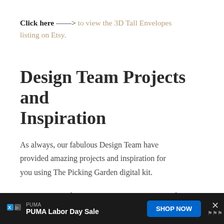Click here —> to view the 3D Tall Envelopes listing on Etsy.
Design Team Projects and Inspiration
As always, our fabulous Design Team have provided amazing projects and inspiration for you using The Picking Garden digital kit.
You may view the Design Team posts HERE and